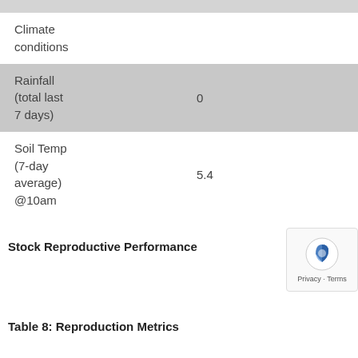|  |  |
| --- | --- |
| Climate conditions |  |
| Rainfall (total last 7 days) | 0 |
| Soil Temp (7-day average) @10am | 5.4 |
Stock Reproductive Performance
Table 8: Reproduction Metrics